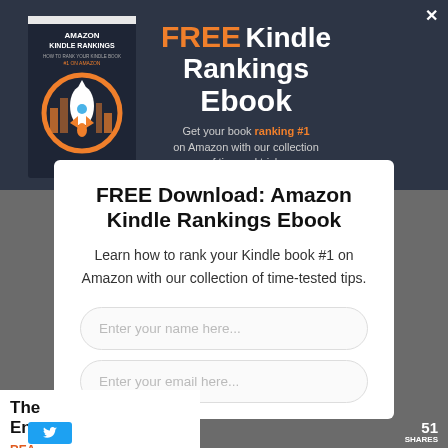[Figure (illustration): Dark navy banner with book cover 'Amazon Kindle Rankings' by Dave Chesson on left, and promotional text on right reading FREE Kindle Rankings Ebook with subtitle about ranking #1 on Amazon]
FREE Download: Amazon Kindle Rankings Ebook
Learn how to rank your Kindle book #1 on Amazon with our collection of time-tested tips.
Enter your name here...
Enter your email here...